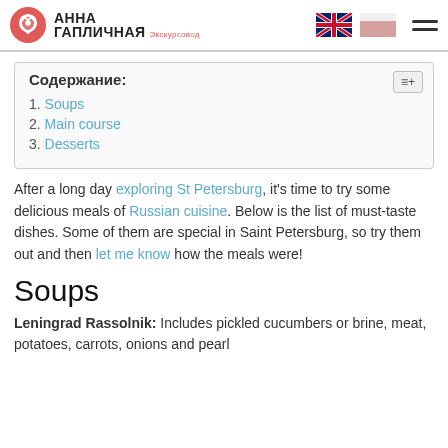АННА ГАПЛИЧНАЯ — Экскурсовод
Содержание:
1. Soups
2. Main course
3. Desserts
After a long day exploring St Petersburg, it's time to try some delicious meals of Russian cuisine. Below is the list of must-taste dishes. Some of them are special in Saint Petersburg, so try them out and then let me know how the meals were!
Soups
Leningrad Rassolnik: Includes pickled cucumbers or brine, meat, potatoes, carrots, onions and pearl